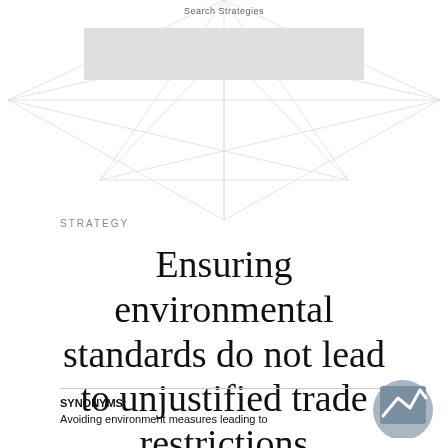[Figure (other): Network diagram with geometric lines and nodes in light gray, with a gray rectangle labeled 'Search Strategies' in the upper portion]
STRATEGY
Ensuring environmental standards do not lead to unjustified trade restrictions
SYNONYMS: Avoiding environment measures leading to unjustified trade restrictions